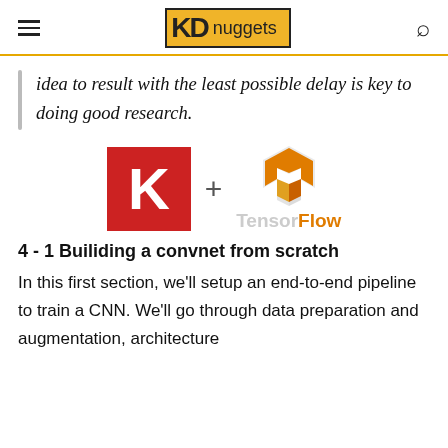KDnuggets
idea to result with the least possible delay is key to doing good research.
[Figure (logo): Keras logo (red square with white K) plus TensorFlow logo (orange TF icon with greyed TensorFlow text)]
4 - 1 Builiding a convnet from scratch
In this first section, we'll setup an end-to-end pipeline to train a CNN. We'll go through data preparation and augmentation, architecture